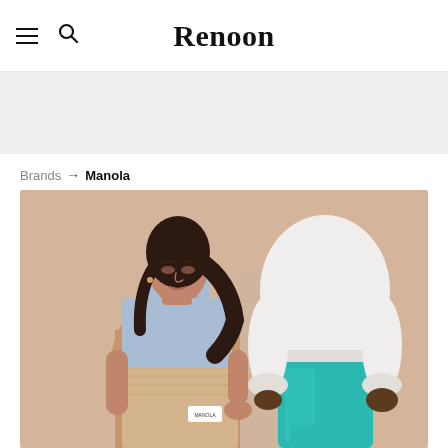Renoon
Brands → Manola
[Figure (photo): Two models wearing Manola activewear. Left model in a light blue sports bra and beige shorts with a small Manola label. Right model in a white cropped sweatshirt and teal/turquoise bike shorts, with dark skin. Warm beige background.]